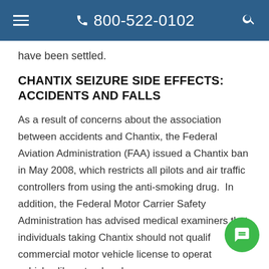800-522-0102
have been settled.
CHANTIX SEIZURE SIDE EFFECTS: ACCIDENTS AND FALLS
As a result of concerns about the association between accidents and Chantix, the Federal Aviation Administration (FAA) issued a Chantix ban in May 2008, which restricts all pilots and air traffic controllers from using the anti-smoking drug.  In addition, the Federal Motor Carrier Safety Administration has advised medical examiners that individuals taking Chantix should not qualify for a commercial motor vehicle license to operate vehicles like a truck or bus.